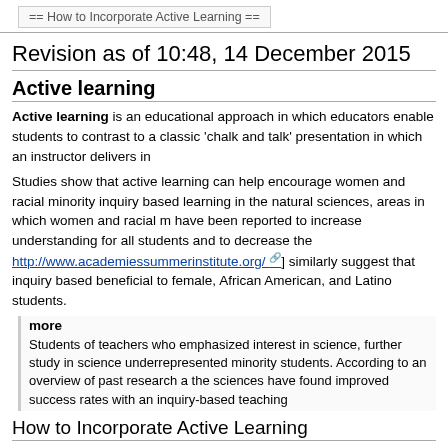== How to Incorporate Active Learning ==
Revision as of 10:48, 14 December 2015
Active learning
Active learning is an educational approach in which educators enable students to contrast to a classic 'chalk and talk' presentation in which an instructor delivers in
Studies show that active learning can help encourage women and racial minority inquiry based learning in the natural sciences, areas in which women and racial m have been reported to increase understanding for all students and to decrease the http://www.academiessummerinstitute.org/ similarly suggest that inquiry based beneficial to female, African American, and Latino students.
more
Students of teachers who emphasized interest in science, further study in science underrepresented minority students. According to an overview of past research a the sciences have found improved success rates with an inquiry-based teaching
How to Incorporate Active Learning
Incorporating Active Learning into the classroom requires changing the environme shift in thought can be achieved by adopting several related practices and attitude
Become familiar with Bloom's Taxonomy and help your students move